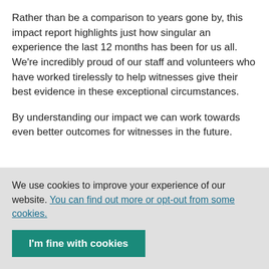Rather than be a comparison to years gone by, this impact report highlights just how singular an experience the last 12 months has been for us all. We're incredibly proud of our staff and volunteers who have worked tirelessly to help witnesses give their best evidence in these exceptional circumstances.
By understanding our impact we can work towards even better outcomes for witnesses in the future.
We use cookies to improve your experience of our website. You can find out more or opt-out from some cookies.